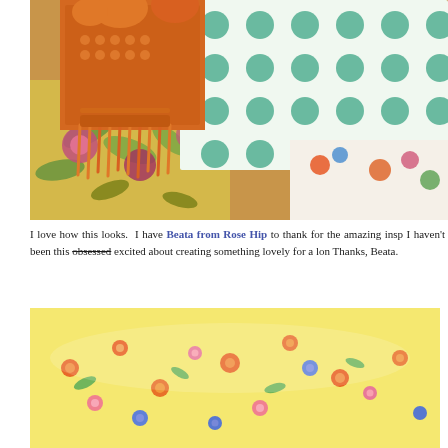[Figure (photo): Close-up photo of orange crochet/macrame fringe trim on colorful floral and polka-dot fabric pillows or cushions. Fabrics include yellow floral, teal/green polka dot on white, and other patterned textiles.]
I love how this looks.  I have Beata from Rose Hip to thank for the amazing insp... I haven't been this obsessed excited about creating something lovely for a lon... Thanks, Beata.
[Figure (photo): Close-up photo of a pillow or cushion covered in a small floral print fabric with orange, pink, blue, and green flowers on a yellow/cream background.]